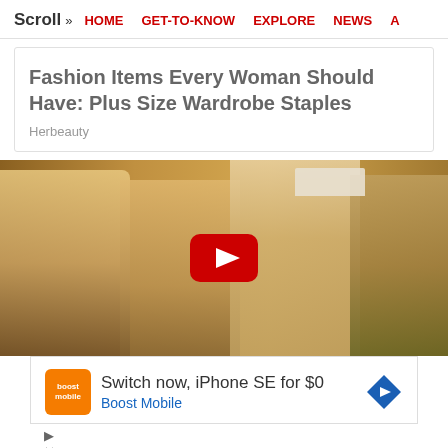Scroll >> HOME  GET-TO-KNOW  EXPLORE  NEWS  A
Fashion Items Every Woman Should Have: Plus Size Wardrobe Staples
Herbeauty
[Figure (photo): Four people posed together in edgy/punk style costumes against a yellow background, with a YouTube play button overlay in the center.]
[Figure (infographic): Advertisement banner: Boost Mobile logo (orange square), text 'Switch now, iPhone SE for $0', 'Boost Mobile' in blue, blue diamond arrow icon on right. Below are small play and close control icons.]